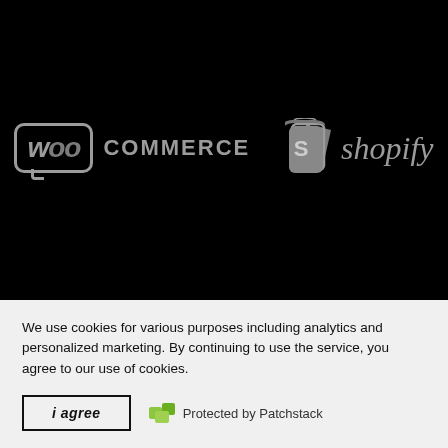[Figure (logo): WooCommerce and Shopify logos displayed side by side on a black background. WooCommerce logo shows 'Woo' in a speech bubble and 'COMMERCE' text. Shopify logo shows an 'S' shopping bag icon and 'shopify' text in italic.]
We use cookies for various purposes including analytics and personalized marketing. By continuing to use the service, you agree to our use of cookies.
i agree   Protected by Patchstack